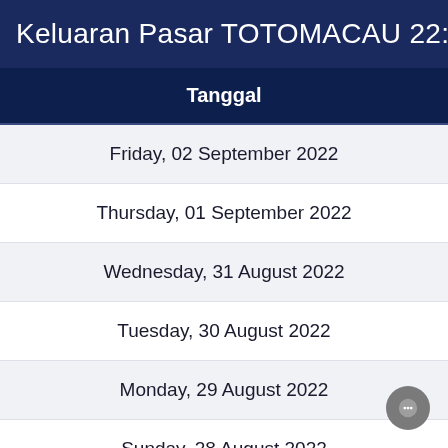Keluaran Pasar TOTOMACAU 22:00 W
| Tanggal |
| --- |
| Friday, 02 September 2022 |
| Thursday, 01 September 2022 |
| Wednesday, 31 August 2022 |
| Tuesday, 30 August 2022 |
| Monday, 29 August 2022 |
| Sunday, 28 August 2022 |
| Saturday, 27 August 2022 |
| Friday, 26 August 2022 |